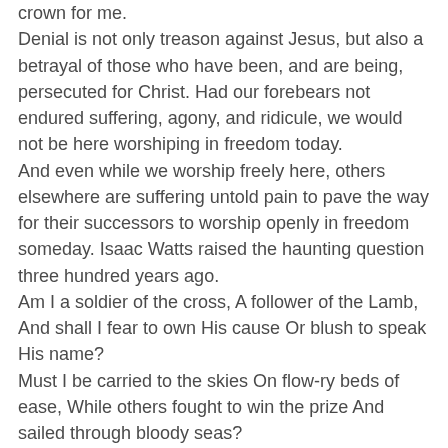crown for me.
Denial is not only treason against Jesus, but also a betrayal of those who have been, and are being, persecuted for Christ. Had our forebears not endured suffering, agony, and ridicule, we would not be here worshiping in freedom today.
And even while we worship freely here, others elsewhere are suffering untold pain to pave the way for their successors to worship openly in freedom someday. Isaac Watts raised the haunting question three hundred years ago.
Am I a soldier of the cross, A follower of the Lamb, And shall I fear to own His cause Or blush to speak His name?
Must I be carried to the skies On flow-ry beds of ease, While others fought to win the prize And sailed through bloody seas?
Are there no foes for me to face? Must I not stem the flood?